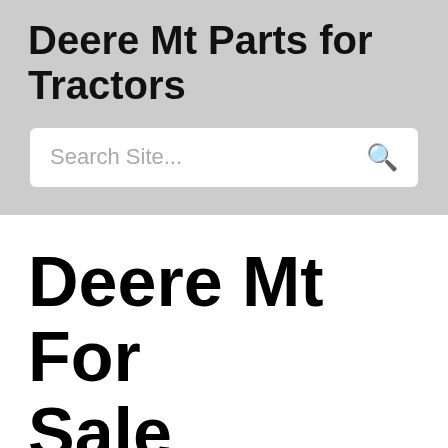Deere Mt Parts for Tractors
Search Site...
Deere Mt For Sale